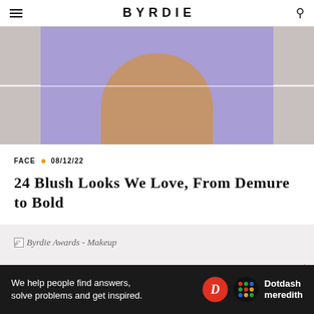BYRDIE
[Figure (photo): Cropped photo of a person wearing a purple/lavender top, showing neck and shoulder area, with gray panels on sides]
FACE • 08/12/22
24 Blush Looks We Love, From Demure to Bold
[Figure (other): Broken image placeholder for Byrdie Awards - Makeup]
Ad
We help people find answers, solve problems and get inspired. Dotdash meredith